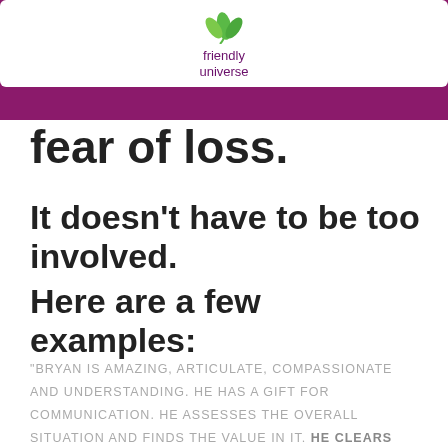friendly universe
fear of loss.
It doesn't have to be too involved.
Here are a few examples:
"BRYAN IS AMAZING, ARTICULATE, COMPASSIONATE AND UNDERSTANDING. HE HAS A GIFT FOR COMMUNICATION. HE ASSESSES THE OVERALL SITUATION AND FINDS THE VALUE IN IT. HE CLEARS